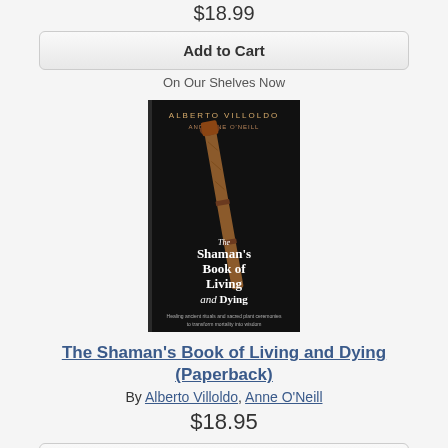$18.99
Add to Cart
On Our Shelves Now
[Figure (photo): Book cover of 'The Shaman's Book of Living and Dying' by Alberto Villoldo and Anne O'Neill, black background with a wooden staff/rattle and white text]
The Shaman's Book of Living and Dying (Paperback)
By Alberto Villoldo, Anne O'Neill
$18.95
Add to Cart
On Our Shelves Now
[Figure (photo): Partial book cover showing 'INNER PEACE' text on a green/teal background]